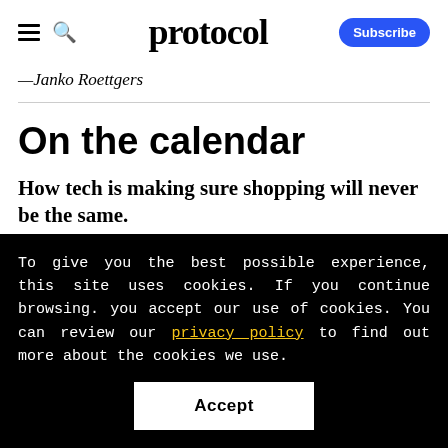protocol
— Janko Roettgers
On the calendar
How tech is making sure shopping will never be the same.
To give you the best possible experience, this site uses cookies. If you continue browsing. you accept our use of cookies. You can review our privacy policy to find out more about the cookies we use.
Accept